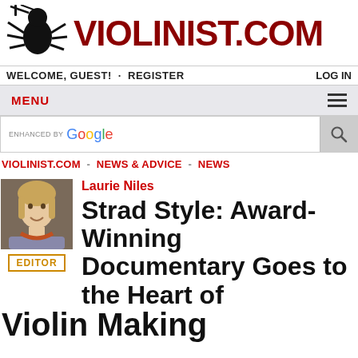[Figure (logo): Violinist.com logo with spider/musician bug illustration and dark red VIOLINIST.COM text]
WELCOME, GUEST! · REGISTER    LOG IN
MENU ≡
[Figure (screenshot): Google search bar with 'ENHANCED BY Google' text and search icon button]
VIOLINIST.COM - NEWS & ADVICE - NEWS
Laurie Niles
[Figure (photo): Author photo of Laurie Niles, a woman with blonde hair smiling]
Strad Style: Award-Winning Documentary Goes to the Heart of Violin Making